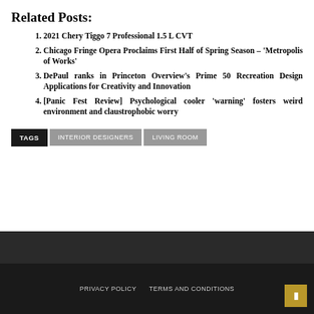Related Posts:
2021 Chery Tiggo 7 Professional 1.5 L CVT
Chicago Fringe Opera Proclaims First Half of Spring Season – 'Metropolis of Works'
DePaul ranks in Princeton Overview's Prime 50 Recreation Design Applications for Creativity and Innovation
[Panic Fest Review] Psychological cooler 'warning' fosters weird environment and claustrophobic worry
TAGS  INTERIOR DESIGNERS  LIVING ROOM
PRIVACY POLICY  TERMS AND CONDITIONS